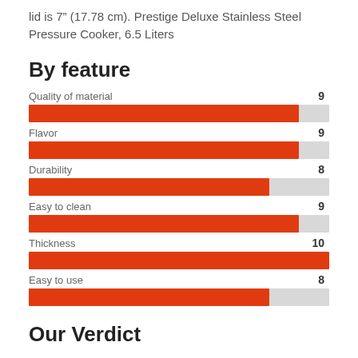lid is 7" (17.78 cm). Prestige Deluxe Stainless Steel Pressure Cooker, 6.5 Liters
By feature
[Figure (bar-chart): By feature]
Our Verdict